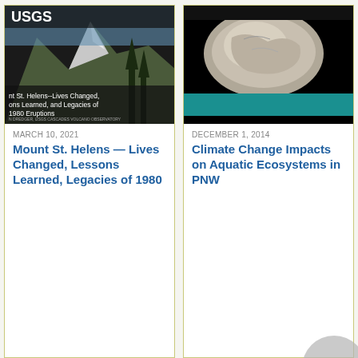[Figure (photo): USGS publication cover showing Mount St. Helens with text 'Mt St. Helens--Lives Changed, Lessons Learned, and Legacies of 1980 Eruptions', USGS Cascades Volcano Observatory]
[Figure (photo): Publication cover showing rocks/boulders in a stream with teal/green color bar at bottom, black background]
MARCH 10, 2021
Mount St. Helens — Lives Changed, Lessons Learned, Legacies of 1980
DECEMBER 1, 2014
Climate Change Impacts on Aquatic Ecosystems in PNW
PRESENTATIONS AND EVENTS
PRESENTATIONS AND EVENTS
[Figure (screenshot): Thumbnail showing 'S' logo and green bar with text 'What is Wastewater?']
[Figure (photo): Thumbnail showing a mountain/volcano landscape]